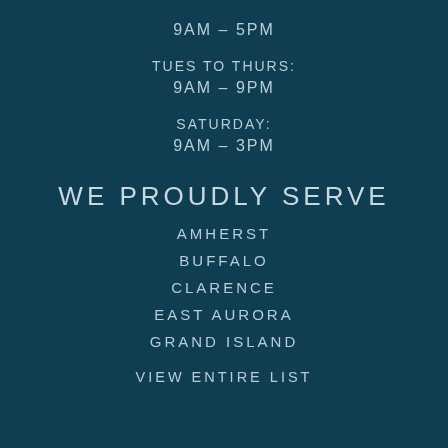9AM – 5PM
TUES TO THURS:
9AM – 9PM
SATURDAY:
9AM – 3PM
WE PROUDLY SERVE
AMHERST
BUFFALO
CLARENCE
EAST AURORA
GRAND ISLAND
VIEW ENTIRE LIST